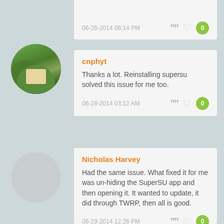06-26-2014 06:14 PM
cnphyt
Thanks a lot. Reinstalling supersu solved this issue for me too.
06-28-2014 03:12 AM
Nicholas Harvey
Had the same issue. What fixed it for me was un-hiding the SuperSU app and then opening it. It wanted to update, it did through TWRP, then all is good.
06-29-2014 12:26 PM